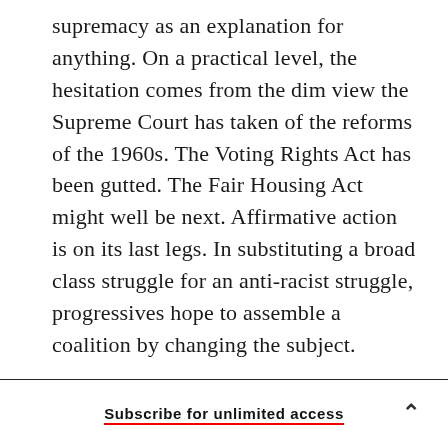supremacy as an explanation for anything. On a practical level, the hesitation comes from the dim view the Supreme Court has taken of the reforms of the 1960s. The Voting Rights Act has been gutted. The Fair Housing Act might well be next. Affirmative action is on its last legs. In substituting a broad class struggle for an anti-racist struggle, progressives hope to assemble a coalition by changing the subject.
The politics of racial evasion are seductive. But the record is mixed. Aid to Families With Dependent Children was originally written largely to exclude
Subscribe for unlimited access